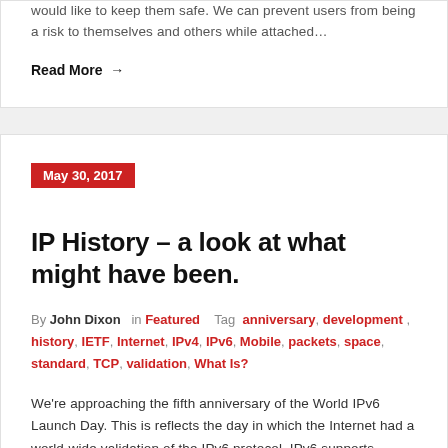would like to keep them safe. We can prevent users from being a risk to themselves and others while attached…
Read More →
May 30, 2017
IP History – a look at what might have been.
By John Dixon  in Featured  Tag anniversary, development, history, IETF, Internet, IPv4, IPv6, Mobile, packets, space, standard, TCP, validation, What Is?
We're approaching the fifth anniversary of the World IPv6 Launch Day. This is reflects the day in which the Internet had a world-wide validation of the IPv6 protocol. IPv6 supports additional hosts,…